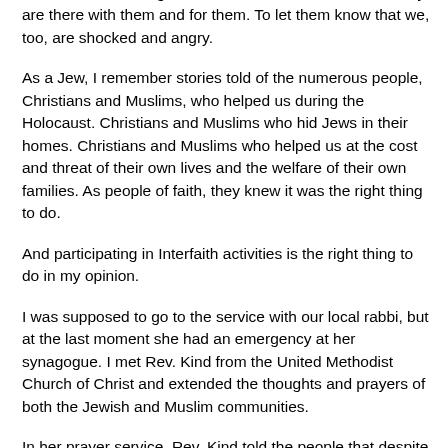that we, as their neighbors and members of the community, are there with them and for them.  To let them know that we, too, are shocked and angry.
As a Jew, I remember stories told of the numerous people, Christians and Muslims, who helped us during the Holocaust.  Christians and Muslims who hid Jews in their homes.  Christians and Muslims who helped us at the cost and threat of their own lives and the welfare of their own families.  As people of faith, they knew it was the right thing to do.
And participating in Interfaith activities is the right thing to do in my opinion.
I was supposed to go to the service with our local rabbi, but at the last moment she had an emergency at her synagogue.  I met Rev. Kind from the United Methodist Church of Christ and extended the thoughts and prayers of both the Jewish and Muslim communities.
In her prayer service, Rev. Kind told the people that despite